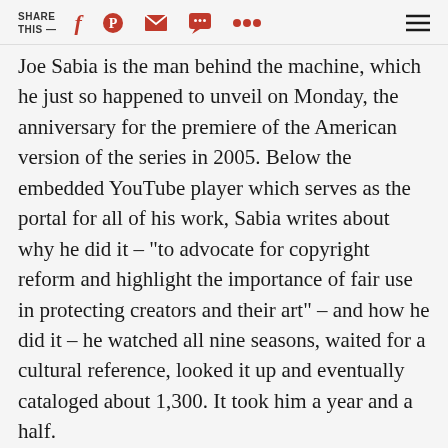SHARE THIS —
Joe Sabia is the man behind the machine, which he just so happened to unveil on Monday, the anniversary for the premiere of the American version of the series in 2005. Below the embedded YouTube player which serves as the portal for all of his work, Sabia writes about why he did it – "to advocate for copyright reform and highlight the importance of fair use in protecting creators and their art" – and how he did it – he watched all nine seasons, waited for a cultural reference, looked it up and eventually cataloged about 1,300. It took him a year and a half.
You don't even need to be a fan of "The Office" or Dwight or Michael or Jim or Pam or Stanley or any of the rest of the characters to get sucked into the Time Machine. Enter your birth date to check cultural references, or catch the names of celebrities, film titles, political figures,